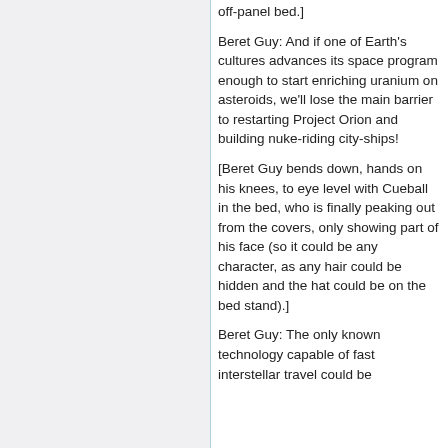off-panel bed.]
Beret Guy: And if one of Earth's cultures advances its space program enough to start enriching uranium on asteroids, we'll lose the main barrier to restarting Project Orion and building nuke-riding city-ships!
[Beret Guy bends down, hands on his knees, to eye level with Cueball in the bed, who is finally peaking out from the covers, only showing part of his face (so it could be any character, as any hair could be hidden and the hat could be on the bed stand).]
Beret Guy: The only known technology capable of fast interstellar travel could be